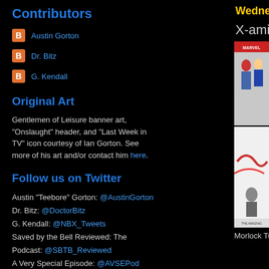Contributors
Austin Gorton
Dr. Bitz
G. Kendall
Original Art
Gentlemen of Leisure banner art, "Onslaught" header, and "Last Week in TV" icon courtesy of Ian Gorton. See more of his art and/or contact him here.
Follow us on Twitter
Austin "Teebore" Gorton: @AustinGorton
Dr. Bitz: @DoctorBitz
G. Kendall: @NBX_Tweets
Saved by the Bell Reviewed: The Podcast: @SBTB_Reviewed
A Very Special Episode: @AVSEPod
Wednesday
X-aminin
[Figure (photo): Comic book cover image showing X-Men characters]
Morlock Tunn